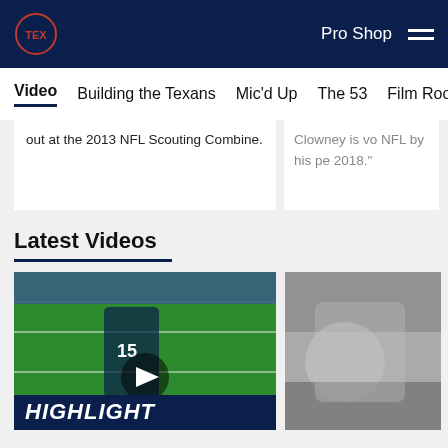Houston Texans - Pro Shop navigation
Video | Building the Texans | Mic'd Up | The 53 | Film Room | High
out at the 2013 NFL Scouting Combine.
Clowney is vo NFL by his pe 2018."
Latest Videos
[Figure (screenshot): Football game screenshot showing Houston Texans player #15 running with ball, with HIGHLIGHT label overlay and play button]
[Figure (photo): Blurred grayscale photo thumbnail of second video]